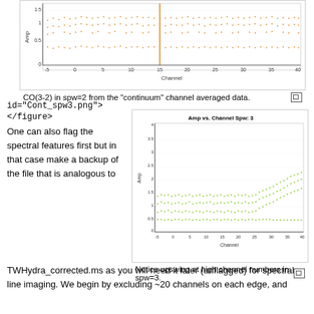[Figure (continuous-plot): Amp vs. Channel scatter plot for spw=2, showing orange/yellow dots scattered between channel -5 and 40, amplitude range 0 to ~1.7, with a tall spike near channel 20.]
CO(3-2) in spw=2 from the "continuum" channel averaged data.
id="Cont_spw3.png">
</figure>
One can also flag the spectral features first but in that case make a backup of the file that is analogous to
[Figure (continuous-plot): Amp vs. Channel scatter plot for spw=3, showing green dots scattered between channel -5 and 40, amplitude range 0 to ~4, with an upswing at high channel numbers (channels 30-40).]
Notice upswing at high channel numbers in spw=3.
TWHydra_corrected.ms as you will need it later (unflagged) for spectral line imaging. We begin by excluding ~20 channels on each edge, and